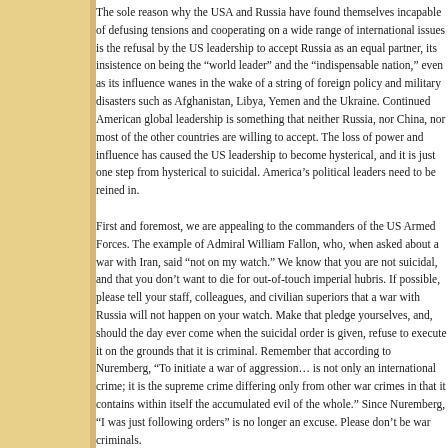The sole reason why the USA and Russia have found themselves incapable of defusing tensions and cooperating on a wide range of international issues is the refusal by the US leadership to accept Russia as an equal partner, its insistence on being the "world leader" and the "indispensable nation," even as its influence wanes in the wake of a string of foreign policy and military disasters such as Afghanistan, Libya, Yemen and the Ukraine. Continued American global leadership is something that neither Russia, nor China, nor most of the other countries are willing to accept. The loss of power and influence has caused the US leadership to become hysterical, and it is just one step from hysterical to suicidal. America's political leaders need to be reined in.
First and foremost, we are appealing to the commanders of the US Armed Forces. The example of Admiral William Fallon, who, when asked about a war with Iran, said "not on my watch." We know that you are not suicidal, and that you don't want to die for out-of-touch imperial hubris. If possible, please tell your staff, colleagues, and civilian superiors that a war with Russia will not happen on your watch. Make that pledge yourselves, and, should the day ever come when the suicidal order is given, refuse to execute it on the grounds that it is criminal. Remember that according to Nuremberg, "To initiate a war of aggression… is not only an international crime; it is the supreme crime differing only from other war crimes in that it contains within itself the accumulated evil of the whole." Since Nuremberg, "I was just following orders" is no longer an excuse. Please don't be war criminals.
We also appeal to the American people to take peaceful but forceful action against any politician or party that engages in irresponsible, provocative Russia-baiting and supports a policy of needless confrontation with a nuclear superpower.